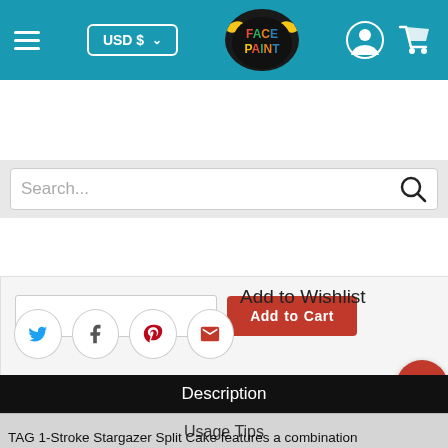Face Paint shop header with USD currency selector, logo, user icon, and cart icon
Search...
[Figure (screenshot): Partial add to cart section with quantity input and red Add to Cart button]
Add to Wishlist
[Figure (infographic): Social sharing icons: Twitter, Facebook, Pinterest, Email in circular borders]
[Figure (other): Red scroll-to-top circular button]
Description
Usage Tips
Ingredients & Safety
Returns
TAG 1-Stroke Stargazer Split Cake features a combination